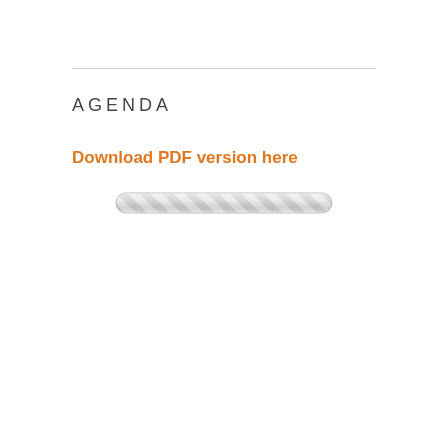AGENDA
Download PDF version here
[Figure (other): A loading/progress bar styled with diagonal stripe pattern in light gray, representing a PDF download button or loading indicator.]